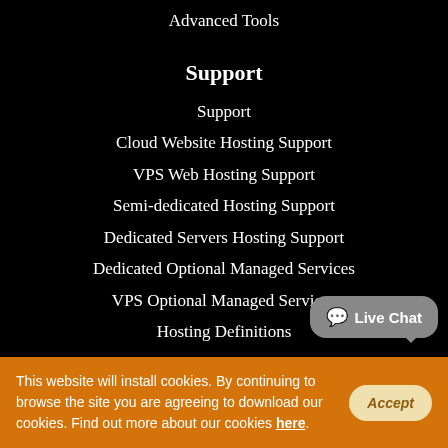Advanced Tools
Support
Support
Cloud Website Hosting Support
VPS Web Hosting Support
Semi-dedicated Hosting Support
Dedicated Servers Hosting Support
Dedicated Optional Managed Services
VPS Optional Managed Services
Hosting Definitions
Contact Us
Our ID: 261506
US: +1-855-211-0932
US: +1-727-546-HOST(4678)
This website will install cookies. By continuing to browse the site you are agreeing to download our cookies. Find out more about our cookies here.